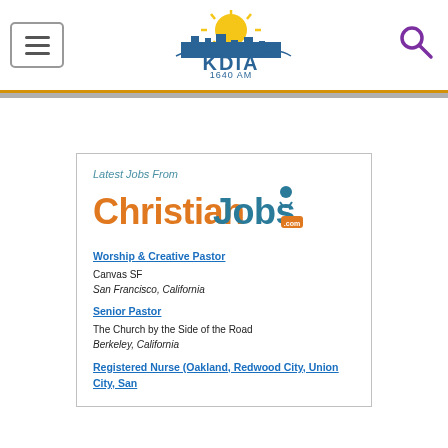KDIA 1640 AM — navigation header with hamburger menu, logo, and search icon
[Figure (logo): KDIA 1640 AM radio station logo with city skyline and sun graphic]
Latest Jobs From
[Figure (logo): ChristianJobs.com logo in orange and teal with figure graphic]
Worship & Creative Pastor
Canvas SF
San Francisco, California
Senior Pastor
The Church by the Side of the Road
Berkeley, California
Registered Nurse (Oakland, Redwood City, Union City, San